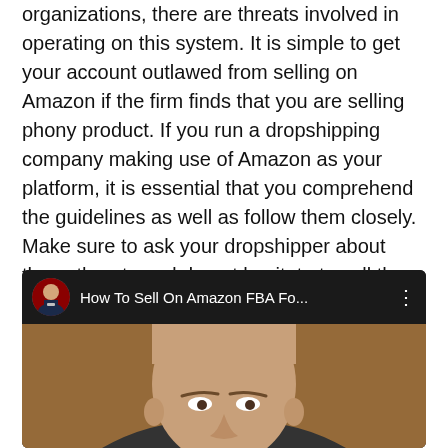organizations, there are threats involved in operating on this system. It is simple to get your account outlawed from selling on Amazon if the firm finds that you are selling phony product. If you run a dropshipping company making use of Amazon as your platform, it is essential that you comprehend the guidelines as well as follow them closely. Make sure to ask your dropshipper about these threats and do not hesitate to call them must you come to a conclusion that you can not wage the sale.
[Figure (screenshot): YouTube video thumbnail showing 'How To Sell On Amazon FBA Fo...' with a bald man's face visible and a circular avatar of a man in a suit on the left of the header bar.]